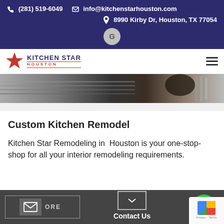(281) 519-6049   info@kitchenstarhouston.com   8990 Kirby Dr, Houston, TX 77054
[Figure (logo): Kitchen Star Houston logo with red star and blue/red text]
[Figure (photo): Hero image strip showing kitchen interior]
Custom Kitchen Remodel
Kitchen Star Remodeling in  Houston is your one-stop-shop for all your interior remodeling requirements.
READ MORE   Contact Us